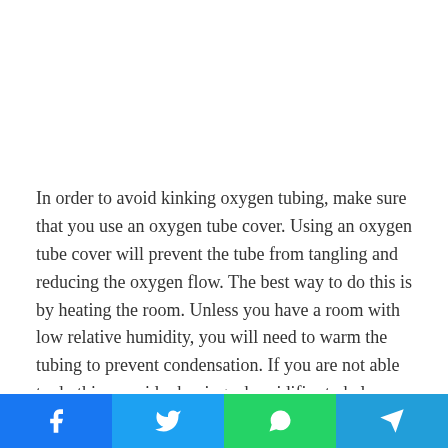In order to avoid kinking oxygen tubing, make sure that you use an oxygen tube cover. Using an oxygen tube cover will prevent the tube from tangling and reducing the oxygen flow. The best way to do this is by heating the room. Unless you have a room with low relative humidity, you will need to warm the tubing to prevent condensation. If you are not able to do this, consider buying a humidifier to help you breathe better.
Oxygen tube covers are very important as they prevent skin